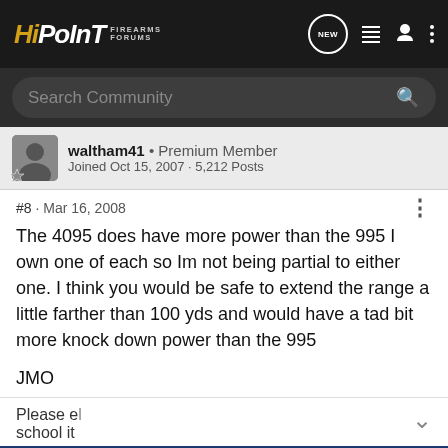HiPoint Firearms Forums
Search Community
waltham41 • Premium Member
Joined Oct 15, 2007 · 5,212 Posts
#8 · Mar 16, 2008
The 4095 does have more power than the 995 I own one of each so Im not being partial to either one. I think you would be safe to extend the range a little farther than 100 yds and would have a tad bit more knock down power than the 995

JMO
Please e... school it
[Figure (advertisement): Kel-Tec CP33 Pistol advertisement: SEEKING LONG RANGE RELATIONSHIP - THE CP33 PISTOL, with image of the pistol on dark blue background]